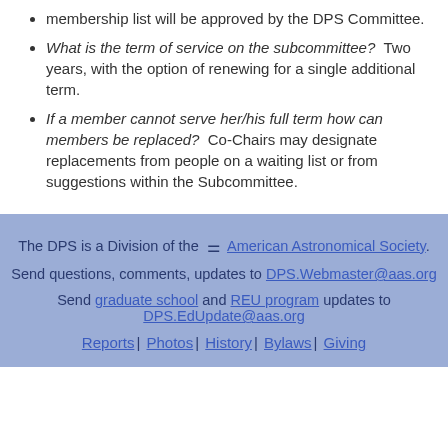membership list will be approved by the DPS Committee.
What is the term of service on the subcommittee?  Two years, with the option of renewing for a single additional term.
If a member cannot serve her/his full term how can members be replaced?  Co-Chairs may designate replacements from people on a waiting list or from suggestions within the Subcommittee.
The DPS is a Division of the  [icon] American Astronomical Society.
Send questions, comments, updates to DPS.Webmaster@aas.org
Send graduate school and REU program updates to DPS.EdUpdate@aas.org
Reports | Photos | History | Bylaws | Giving